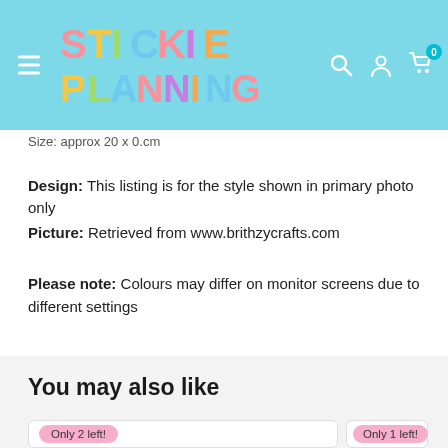Stickie Planning
Size: approx 20 x 0.cm
Design: This listing is for the style shown in primary photo only
Picture: Retrieved from www.brithzycrafts.com
Please note: Colours may differ on monitor screens due to different settings
You may also like
Only 2 left!
Only 1 left!